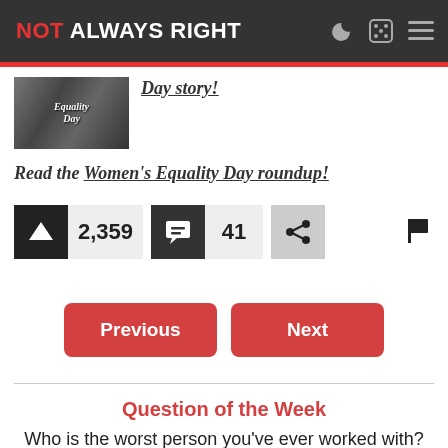NOT ALWAYS RIGHT
[Figure (photo): Black and white photo with text reading 'Equality Day']
Day story!
Read the Women's Equality Day roundup!
2,359 upvotes, 41 comments, share, flag
Previous | Next
Question of the Week
Who is the worst person you've ever worked with?